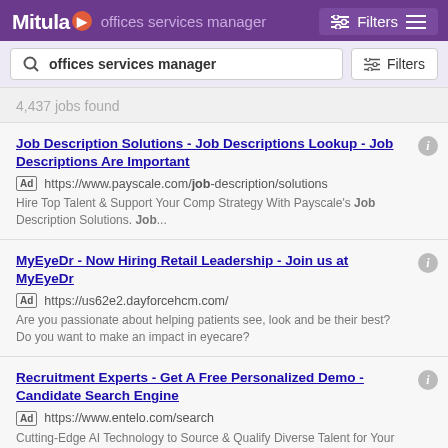Mitula - offices services manager - Filters
4,437 jobs found
Job Description Solutions - Job Descriptions Lookup - Job Descriptions Are Important
Ad https://www.payscale.com/job-description/solutions
Hire Top Talent & Support Your Comp Strategy With Payscale's Job Description Solutions. Job...
MyEyeDr - Now Hiring Retail Leadership - Join us at MyEyeDr
Ad https://us62e2.dayforcehcm.com/
Are you passionate about helping patients see, look and be their best? Do you want to make an impact in eyecare?
Recruitment Experts - Get A Free Personalized Demo - Candidate Search Engine
Ad https://www.entelo.com/search
Cutting-Edge AI Technology to Source & Qualify Diverse Talent for Your Hiring Goals. Trusted Partner for the Most Progressive ...